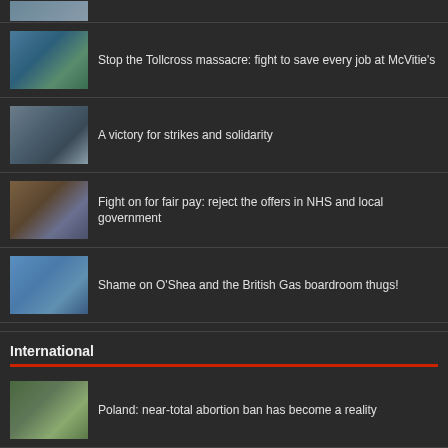[Figure (photo): Partial image at top, cropped]
Stop the Tollcross massacre: fight to save every job at McVitie's
A victory for strikes and solidarity
Fight on for fair pay: reject the offers in NHS and local government
Shame on O'Shea and the British Gas boardroom thugs!
International
Poland: near-total abortion ban has become a reality
Latin America epicentre of drive for socialist change